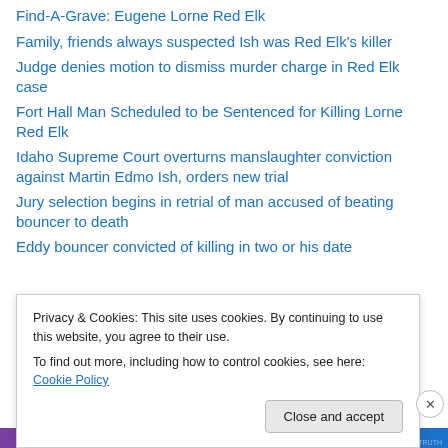Find-A-Grave: Eugene Lorne Red Elk
Family, friends always suspected Ish was Red Elk's killer
Judge denies motion to dismiss murder charge in Red Elk case
Fort Hall Man Scheduled to be Sentenced for Killing Lorne Red Elk
Idaho Supreme Court overturns manslaughter conviction against Martin Edmo Ish, orders new trial
Jury selection begins in retrial of man accused of beating bouncer to death
[partial link, cut off at bottom]
Privacy & Cookies: This site uses cookies. By continuing to use this website, you agree to their use.
To find out more, including how to control cookies, see here: Cookie Policy
Close and accept